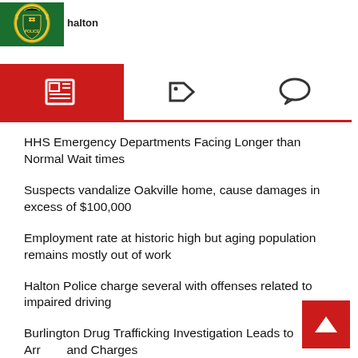[Figure (logo): Halton Police logo with green background and badge/crest]
[Figure (infographic): Navigation tab bar with newspaper icon (active, red background), tag icon, and speech bubble icon]
HHS Emergency Departments Facing Longer than Normal Wait times
Suspects vandalize Oakville home, cause damages in excess of $100,000
Employment rate at historic high but aging population remains mostly out of work
Halton Police charge several with offenses related to impaired driving
Burlington Drug Trafficking Investigation Leads to Arrests and Charges
South Asian immigrant women less likely to report